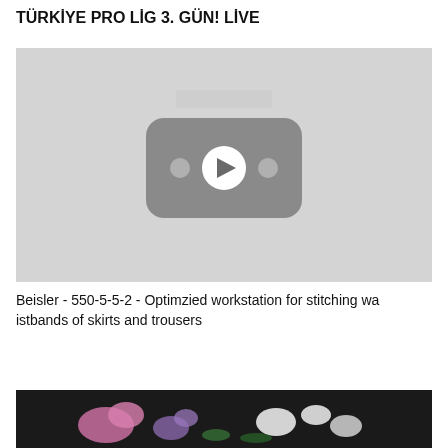TÜRKİYE PRO LİG 3. GÜN! LİVE
[Figure (screenshot): YouTube video thumbnail placeholder — grey background with YouTube play button icon (rounded rectangle with play arrow, two dots beside it)]
Beisler - 550-5-5-2 - Optimzied workstation for stitching waistbands of skirts and trousers
[Figure (photo): Dark background with flowers — pink, white and purple blooms visible]